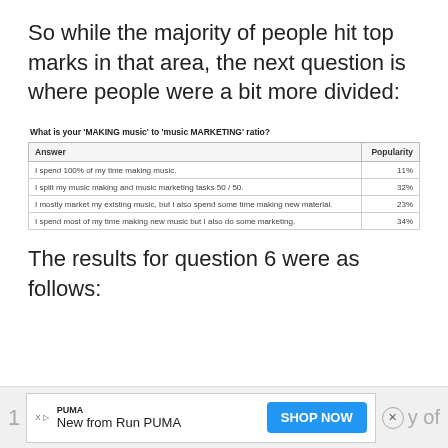So while the majority of people hit top marks in that area, the next question is where people were a bit more divided:
What is your 'MAKING music' to 'music MARKETING' ratio?
| Answer | Popularity |
| --- | --- |
| I spend 100% of my time making music. | 11% |
| I split my music making and music marketing tasks 50 / 50. | 32% |
| I mostly market my existing music, but I also spend some time making new material. | 23% |
| I spend most of my time making new music but I also do some marketing. | 34% |
The results for question 6 were as follows:
1 ... y of ... 5